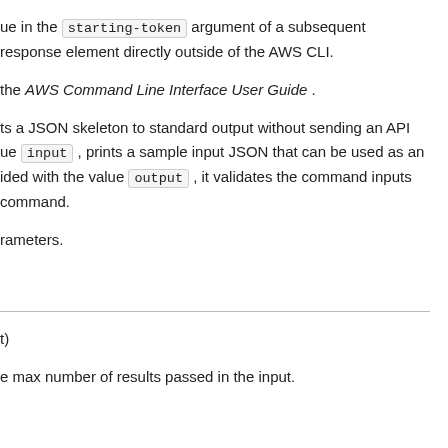ue in the starting-token argument of a subsequent response element directly outside of the AWS CLI.
the AWS Command Line Interface User Guide .
ts a JSON skeleton to standard output without sending an API ue input , prints a sample input JSON that can be used as an ided with the value output , it validates the command inputs command.
rameters.
t)
e max number of results passed in the input.